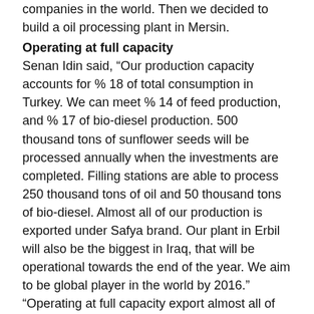companies in the world. Then we decided to build a oil processing plant in Mersin.
Operating at full capacity
Senan Idin said, “Our production capacity accounts for % 18 of total consumption in Turkey. We can meet % 14 of feed production, and % 17 of bio-diesel production. 500 thousand tons of sunflower seeds will be processed annually when the investments are completed. Filling stations are able to process 250 thousand tons of oil and 50 thousand tons of bio-diesel. Almost all of our production is exported under Safya brand. Our plant in Erbil will also be the biggest in Iraq, that will be operational towards the end of the year. We aim to be global player in the world by 2016.” “Operating at full capacity export almost all of the production. We supply about 300 thousand tons seeds from Turkey, Bulgaria, Rumania, Moldavia, USA, Brazil, Paraguay, Argentina, Ukraine and Russia. Most of exports go to Iraqi market, where the major